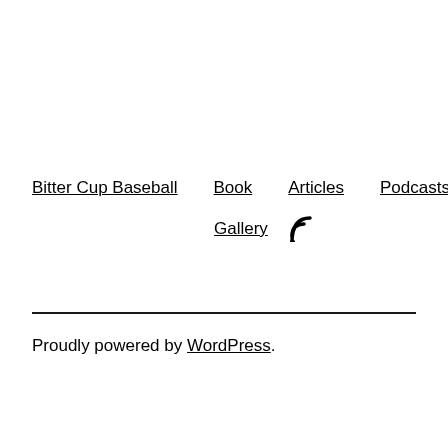Bitter Cup Baseball | Book | Articles | Podcasts | Gallery | RSS
Proudly powered by WordPress.